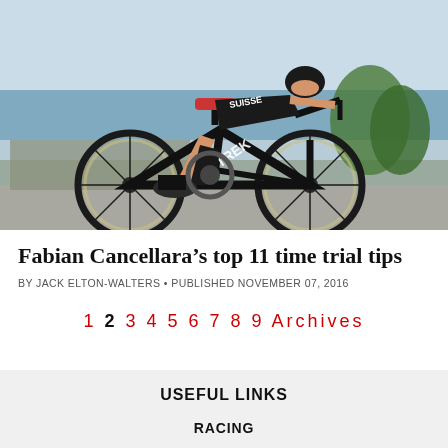[Figure (photo): Cyclist Fabian Cancellara riding a Trek time trial bike in a black and white Suisse jersey, leaning forward in aerodynamic position, with a coastal backdrop]
Fabian Cancellara’s top 11 time trial tips
BY JACK ELTON-WALTERS • PUBLISHED NOVEMBER 07, 2016
1 2 3 4 5 6 7 8 9 Archives
USEFUL LINKS
RACING